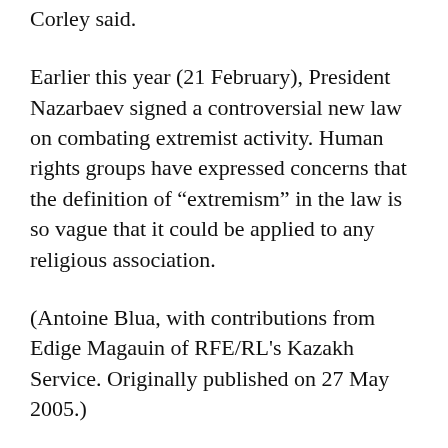Corley said.
Earlier this year (21 February), President Nazarbaev signed a controversial new law on combating extremist activity. Human rights groups have expressed concerns that the definition of "extremism" in the law is so vague that it could be applied to any religious association.
(Antoine Blua, with contributions from Edige Magauin of RFE/RL's Kazakh Service. Originally published on 27 May 2005.)
SPONTANEOUS POPULAR UPRISING IN ANDIJON, OR TERRORIST-LED UPHEAVAL? The events leading up to the killing of reportedly hundreds of Uzbeks on 13 May in the eastern city of Andijon have been described in very different ways. President Islam